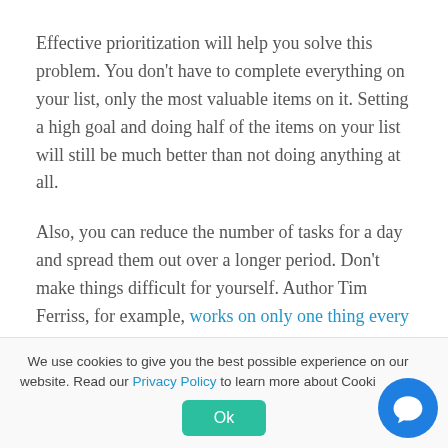Effective prioritization will help you solve this problem. You don't have to complete everything on your list, only the most valuable items on it. Setting a high goal and doing half of the items on your list will still be much better than not doing anything at all.
Also, you can reduce the number of tasks for a day and spread them out over a longer period. Don't make things difficult for yourself. Author Tim Ferriss, for example, works on only one thing every day.
We use cookies to give you the best possible experience on our website. Read our Privacy Policy to learn more about Cooki...